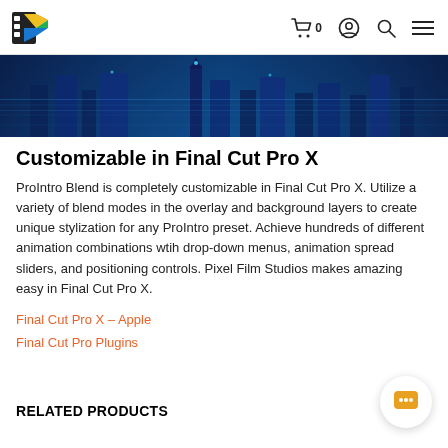Pixel Film Studios logo, cart (0), account, search, menu
[Figure (photo): Blue glowing cityscape banner image with digital overlay effect]
Customizable in Final Cut Pro X
ProIntro Blend is completely customizable in Final Cut Pro X. Utilize a variety of blend modes in the overlay and background layers to create unique stylization for any ProIntro preset. Achieve hundreds of different animation combinations wtih drop-down menus, animation spread sliders, and positioning controls. Pixel Film Studios makes amazing easy in Final Cut Pro X.
Final Cut Pro X – Apple
Final Cut Pro Plugins
RELATED PRODUCTS